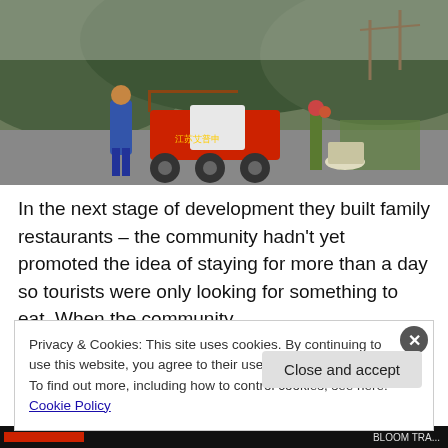[Figure (photo): A man in a blue jacket stands next to a red three-wheeled cargo vehicle in a rural setting with green hills and flowering plants in the background.]
In the next stage of development they built family restaurants – the community hadn't yet promoted the idea of staying for more than a day so tourists were only looking for something to eat. When the community
Privacy & Cookies: This site uses cookies. By continuing to use this website, you agree to their use.
To find out more, including how to control cookies, see here: Cookie Policy